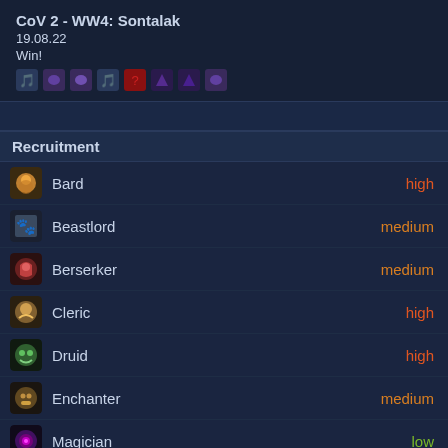CoV 2 - WW4: Sontalak
19.08.22
Win!
Recruitment
Bard — high
Beastlord — medium
Berserker — medium
Cleric — high
Druid — high
Enchanter — medium
Magician — low
Monk — medium
Ranger — low
Rogue — medium